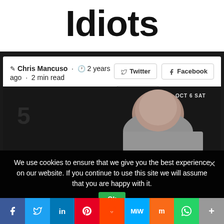Idiots
Chris Mancuso · 2 years ago · 2 min read
[Figure (photo): A bald man bowing his head at what appears to be a press conference or sporting event, with 'OCT 6 SAT' visible in the background signage.]
We use cookies to ensure that we give you the best experience on our website. If you continue to use this site we will assume that you are happy with it.